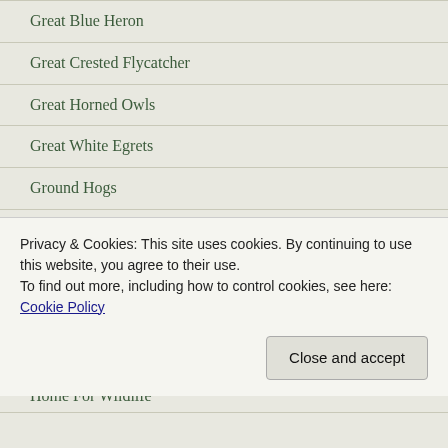Great Blue Heron
Great Crested Flycatcher
Great Horned Owls
Great White Egrets
Ground Hogs
Hawks
Heat Waves
Herring Gulls
Holidays
Home For Wildlife
Privacy & Cookies: This site uses cookies. By continuing to use this website, you agree to their use.
To find out more, including how to control cookies, see here: Cookie Policy
Close and accept